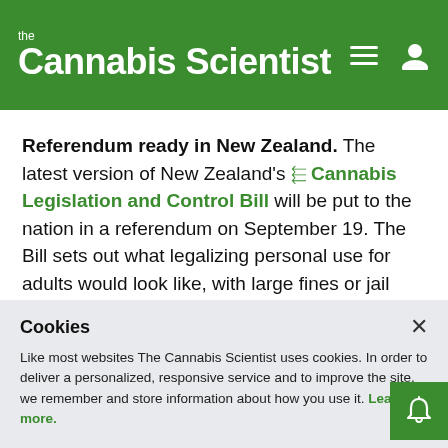the Cannabis Scientist
Referendum ready in New Zealand. The latest version of New Zealand's ➡ Cannabis Legislation and Control Bill will be put to the nation in a referendum on September 19. The Bill sets out what legalizing personal use for adults would look like, with large fines or jail time for unlawful supply and a focus on treatment rather than punishment for underage users.
Cookies
Like most websites The Cannabis Scientist uses cookies. In order to deliver a personalized, responsive service and to improve the site, we remember and store information about how you use it. Learn more.